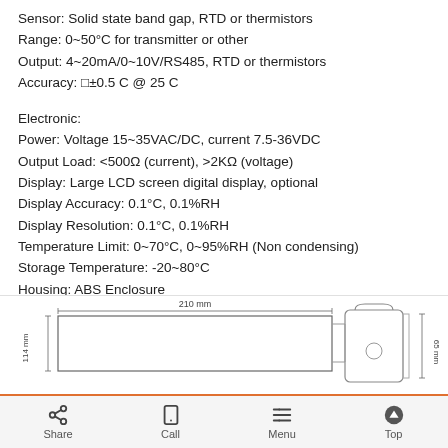Sensor: Solid state band gap, RTD or thermistors
Range: 0~50°C for transmitter or other
Output: 4~20mA/0~10V/RS485, RTD or thermistors
Accuracy: □±0.5 C @ 25 C
Electronic:
Power: Voltage 15~35VAC/DC, current 7.5-36VDC
Output Load: <500Ω (current), >2KΩ (voltage)
Display: Large LCD screen digital display, optional
Display Accuracy: 0.1°C, 0.1%RH
Display Resolution: 0.1°C, 0.1%RH
Temperature Limit: 0~70°C, 0~95%RH (Non condensing)
Storage Temperature: -20~80°C
Housing: ABS Enclosure
Protection: IP30
[Figure (engineering-diagram): Dimensional drawing of sensor housing showing 210mm width, 114mm height, and 65mm depth with bracket and device illustration]
Share | Call | Menu | Top